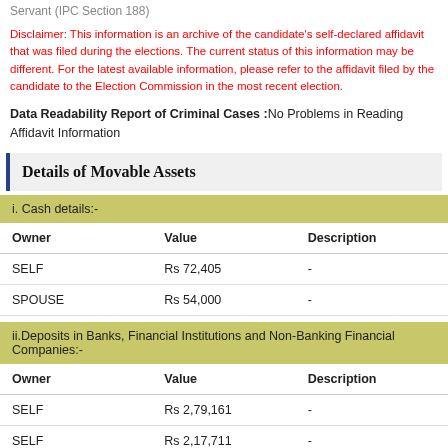Servant (IPC Section 188)
Disclaimer: This information is an archive of the candidate's self-declared affidavit that was filed during the elections. The current status of this information may be different. For the latest available information, please refer to the affidavit filed by the candidate to the Election Commission in the most recent election.
Data Readability Report of Criminal Cases :No Problems in Reading Affidavit Information
Details of Movable Assets
| Owner | Value | Description |
| --- | --- | --- |
| SELF | Rs 72,405 | - |
| SPOUSE | Rs 54,000 | - |
| Owner | Value | Description |
| --- | --- | --- |
| SELF | Rs 2,79,161 | - |
| SELF | Rs 2,17,711 | - |